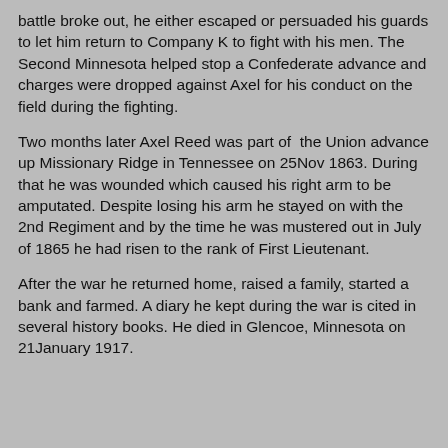battle broke out, he either escaped or persuaded his guards to let him return to Company K to fight with his men. The Second Minnesota helped stop a Confederate advance and charges were dropped against Axel for his conduct on the field during the fighting.
Two months later Axel Reed was part of the Union advance up Missionary Ridge in Tennessee on 25Nov 1863. During that he was wounded which caused his right arm to be amputated. Despite losing his arm he stayed on with the 2nd Regiment and by the time he was mustered out in July of 1865 he had risen to the rank of First Lieutenant.
After the war he returned home, raised a family, started a bank and farmed. A diary he kept during the war is cited in several history books. He died in Glencoe, Minnesota on 21January 1917.